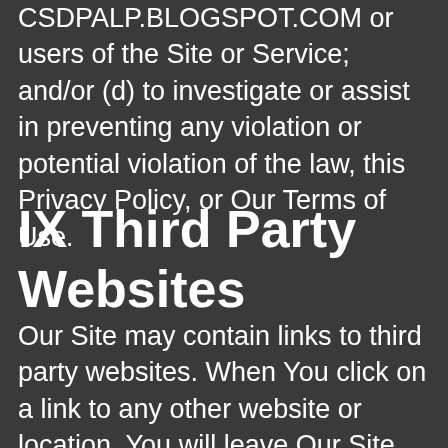CSDPALP.BLOGSPOT.COM or users of the Site or Service; and/or (d) to investigate or assist in preventing any violation or potential violation of the law, this Privacy Policy, or Our Terms of Use.
IX Third Party Websites
Our Site may contain links to third party websites. When You click on a link to any other website or location, You will leave Our Site and go to another site, and another entity may collect Personal Data or Anonymous